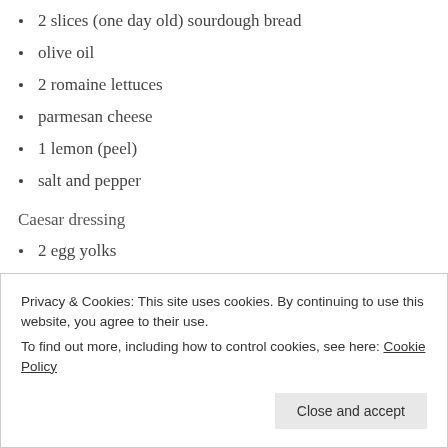2 slices (one day old) sourdough bread
olive oil
2 romaine lettuces
parmesan cheese
1 lemon (peel)
salt and pepper
Caesar dressing
2 egg yolks
1 tbs white wine vinegar
2 tsp Dijon mustard
1 garlic clove (pressed)
Privacy & Cookies: This site uses cookies. By continuing to use this website, you agree to their use.
To find out more, including how to control cookies, see here: Cookie Policy
Close and accept